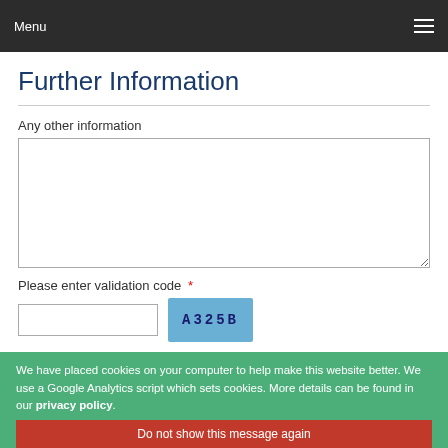Menu
Further Information
Any other information
Please enter validation code *
Data Protection Notice 1998
I [checkbox] *
In considering your application we will search your record at
We have placed cookies on your computer to help make this website better. We use a Google Analytics script which sets cookies. More details can be found in our privacy policy.
Do not show this message again